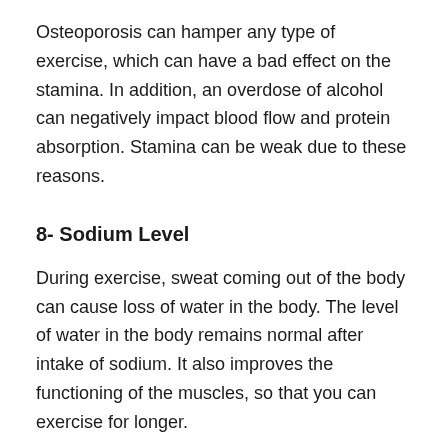Osteoporosis can hamper any type of exercise, which can have a bad effect on the stamina. In addition, an overdose of alcohol can negatively impact blood flow and protein absorption. Stamina can be weak due to these reasons.
8- Sodium Level
During exercise, sweat coming out of the body can cause loss of water in the body. The level of water in the body remains normal after intake of sodium. It also improves the functioning of the muscles, so that you can exercise for longer.
9- Protein
Protein-derived from food is important for muscle